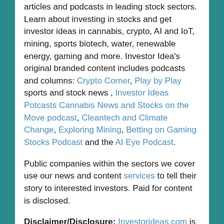articles and podcasts in leading stock sectors. Learn about investing in stocks and get investor ideas in cannabis, crypto, AI and IoT, mining, sports biotech, water, renewable energy, gaming and more. Investor Idea's original branded content includes podcasts and columns: Crypto Corner, Play by Play sports and stock news , Investor Ideas Potcasts Cannabis News and Stocks on the Move podcast, Cleantech and Climate Change, Exploring Mining, Betting on Gaming Stocks Podcast and the AI Eye Podcast.
Public companies within the sectors we cover use our news and content services to tell their story to interested investors. Paid for content is disclosed.
Disclaimer/Disclosure: Investorideas.com is a digital publisher of third party sourced news, articles and equity research as well as creates original content, including video, interviews and articles. Original content created by investorideas is protected by copyright laws other than syndication rights.